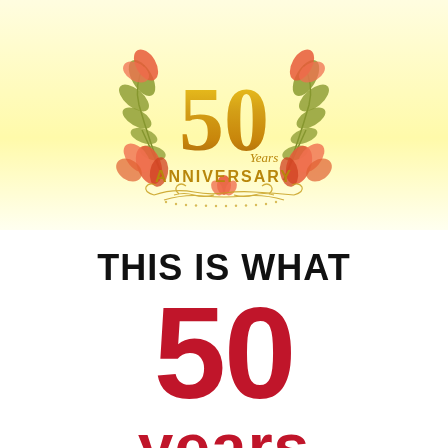[Figure (illustration): 50 Years Anniversary emblem with golden '50' numeral, 'Years' script, 'ANNIVERSARY' text, decorative laurel wreath with pink/red floral elements, and ornamental swirl border at bottom, on a pale yellow background.]
THIS IS WHAT
50
years